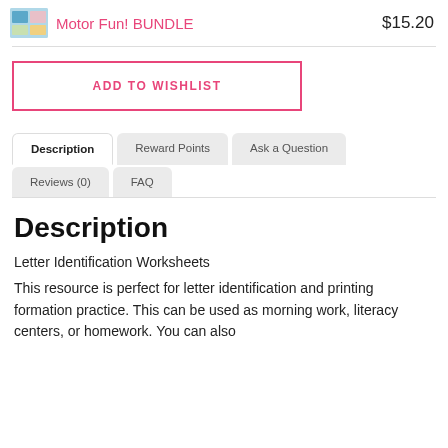Motor Fun! BUNDLE  $15.20
ADD TO WISHLIST
Description  Reward Points  Ask a Question  Reviews (0)  FAQ
Description
Letter Identification Worksheets
This resource is perfect for letter identification and printing formation practice. This can be used as morning work, literacy centers, or homework. You can also